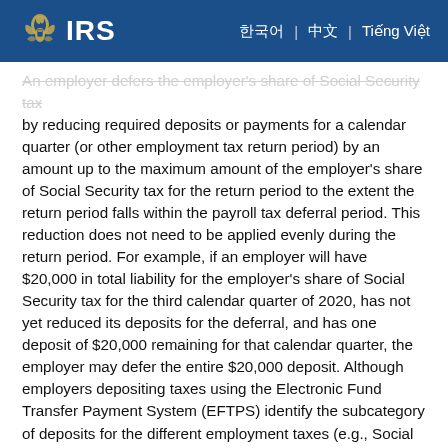IRS
An employer defers the employer's share of Social Security tax by reducing required deposits or payments for a calendar quarter (or other employment tax return period) by an amount up to the maximum amount of the employer's share of Social Security tax for the return period to the extent the return period falls within the payroll tax deferral period. This reduction does not need to be applied evenly during the return period. For example, if an employer will have $20,000 in total liability for the employer's share of Social Security tax for the third calendar quarter of 2020, has not yet reduced its deposits for the deferral, and has one deposit of $20,000 remaining for that calendar quarter, the employer may defer the entire $20,000 deposit. Although employers depositing taxes using the Electronic Fund Transfer Payment System (EFTPS) identify the subcategory of deposits for the different employment taxes (e.g., Social Security tax, Medicare tax), those entries are for informational purposes only; the IRS generally does not use that information in determining whether payroll tax was deposited for purposes of the payroll tax deferral.